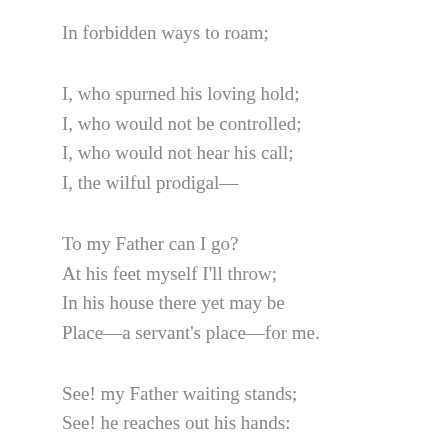In forbidden ways to roam;
I, who spurned his loving hold;
I, who would not be controlled;
I, who would not hear his call;
I, the wilful prodigal—
To my Father can I go?
At his feet myself I'll throw;
In his house there yet may be
Place—a servant's place—for me.
See! my Father waiting stands;
See! he reaches out his hands: